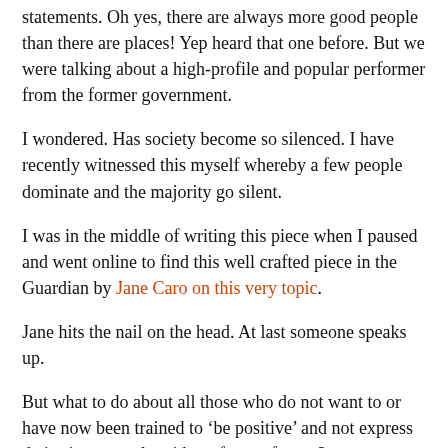statements. Oh yes, there are always more good people than there are places! Yep heard that one before. But we were talking about a high-profile and popular performer from the former government.
I wondered. Has society become so silenced. I have recently witnessed this myself whereby a few people dominate and the majority go silent.
I was in the middle of writing this piece when I paused and went online to find this well crafted piece in the Guardian by Jane Caro on this very topic.
Jane hits the nail on the head. At last someone speaks up.
But what to do about all those who do not want to or have now been trained to ‘be positive’ and not express their views openly without fear or favour?